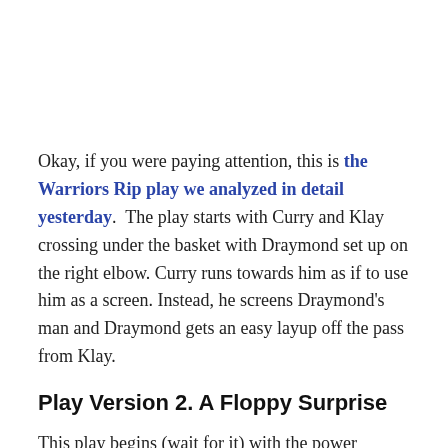Okay, if you were paying attention, this is the Warriors Rip play we analyzed in detail yesterday.  The play starts with Curry and Klay crossing under the basket with Draymond set up on the right elbow. Curry runs towards him as if to use him as a screen. Instead, he screens Draymond's man and Draymond gets an easy layup off the pass from Klay.
Play Version 2. A Floppy Surprise
This play begins (wait for it) with the power forward Harrison Barnes set up on the right elbow, and Curry and Klay cross under the basket. Curry heads towards